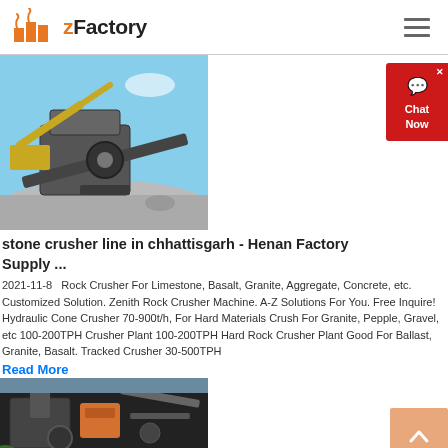zFactory
[Figure (photo): Stone crusher machinery at a quarry site with excavator in background]
stone crusher line in chhattisgarh - Henan Factory Supply ...
2021-11-8   Rock Crusher For Limestone, Basalt, Granite, Aggregate, Concrete, etc. Customized Solution. Zenith Rock Crusher Machine. A-Z Solutions For You. Free Inquire! Hydraulic Cone Crusher 70-900t/h, For Hard Materials Crush For Granite, Pepple, Gravel, etc 100-200TPH Crusher Plant 100-200TPH Hard Rock Crusher Plant Good For Ballast, Granite, Basalt. Tracked Crusher 30-500TPH
Read More
[Figure (photo): Industrial crusher machine equipment close-up view]